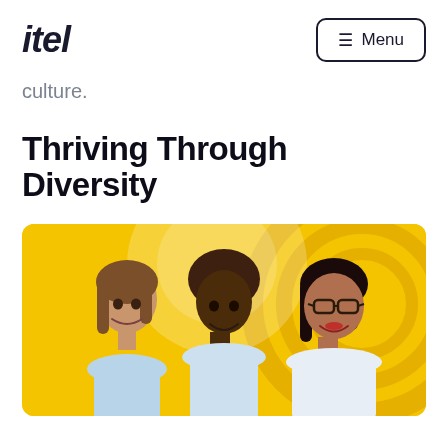itel
culture.
Thriving Through Diversity
[Figure (photo): Three women smiling against a yellow background with decorative circular patterns. The women are diverse — one with straight brown hair on the left, one with natural curly hair in the center, and one with straight black hair and glasses on the right.]